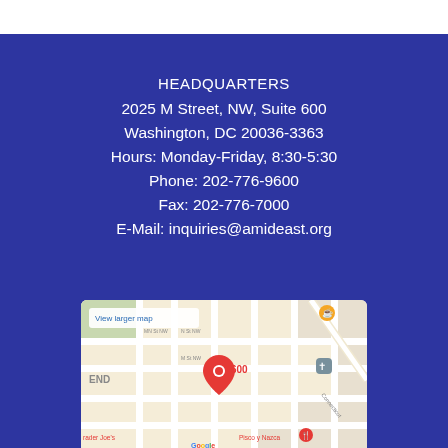HEADQUARTERS
2025 M Street, NW, Suite 600
Washington, DC 20036-3363
Hours: Monday-Friday, 8:30-5:30
Phone: 202-776-9600
Fax: 202-776-7000
E-Mail: inquiries@amideast.org
[Figure (map): Google Maps embed showing the location at 2025 M Street NW Suite 600, Washington DC, with a red pin marker labeled '600', street grid visible including N St NW, and nearby landmarks. 'View larger map' link visible in top left.]